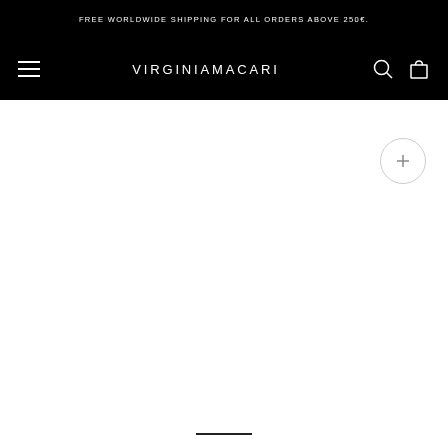FREE WORLDWIDE SHIPPING FOR ALL ORDERS ABOVE 250€.
VIRGINIAMACARI
[Figure (screenshot): Virginia Macari e-commerce website header with black navigation bar containing hamburger menu, brand logo VIRGINIAMACARI, search and cart icons, and a white product image area with a zoom/plus button and scroll indicator at the bottom]